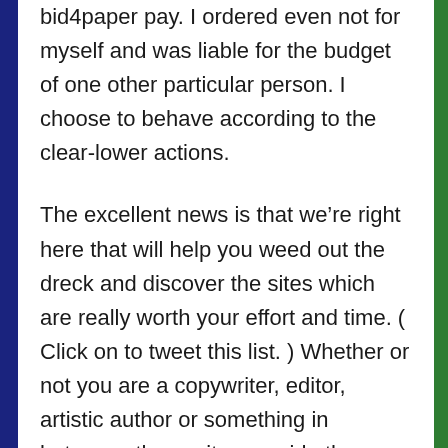bid4paper pay. I ordered even not for myself and was liable for the budget of one other particular person. I choose to behave according to the clear-lower actions.
The excellent news is that we’re right here that will help you weed out the dreck and discover the sites which are really worth your effort and time. ( Click on to tweet this list. ) Whether or not you are a copywriter, editor, artistic author or something in between, these sites provide the properly-paying, respected freelance writing jobs you really want.